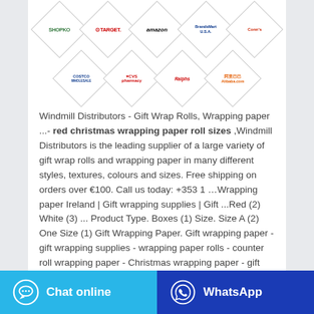[Figure (logo): Grid of retail brand logos in diamond/rhombus shapes: Shopko, Target, Amazon, BrandsMart USA, Conn's, Costco, CVS Pharmacy, Ralphs, Alibaba]
Windmill Distributors - Gift Wrap Rolls, Wrapping paper ...- red christmas wrapping paper roll sizes ,Windmill Distributors is the leading supplier of a large variety of gift wrap rolls and wrapping paper in many different styles, textures, colours and sizes. Free shipping on orders over €100. Call us today: +353 1 …Wrapping paper Ireland | Gift wrapping supplies | Gift ...Red (2) White (3) ... Product Type. Boxes (1) Size. Size A (2) One Size (1) Gift Wrapping Paper. Gift wrapping paper - gift wrapping supplies - wrapping paper rolls - counter roll wrapping paper - Christmas wrapping paper - gift wraps rolls wholesale - gift wrap rolls - Sort By. 21
Chat online
WhatsApp